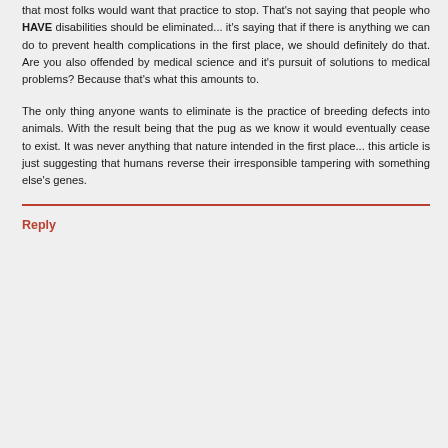that most folks would want that practice to stop. That's not saying that people who HAVE disabilities should be eliminated... it's saying that if there is anything we can do to prevent health complications in the first place, we should definitely do that. Are you also offended by medical science and it's pursuit of solutions to medical problems? Because that's what this amounts to.
The only thing anyone wants to eliminate is the practice of breeding defects into animals. With the result being that the pug as we know it would eventually cease to exist. It was never anything that nature intended in the first place... this article is just suggesting that humans reverse their irresponsible tampering with something else's genes.
Reply